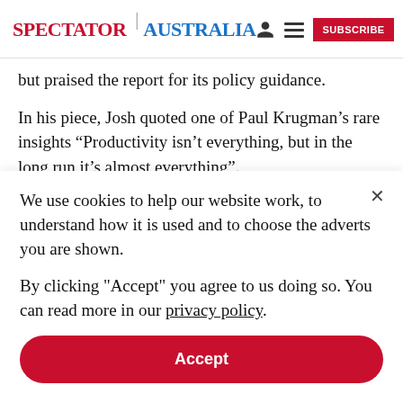SPECTATOR | AUSTRALIA
but praised the report for its policy guidance.
In his piece, Josh quoted one of Paul Krugman’s rare insights “Productivity isn’t everything, but in the long run it’s almost everything”.
But that quote was probably Josh’s sole contribution to
We use cookies to help our website work, to understand how it is used and to choose the adverts you are shown.
By clicking "Accept" you agree to us doing so. You can read more in our privacy policy.